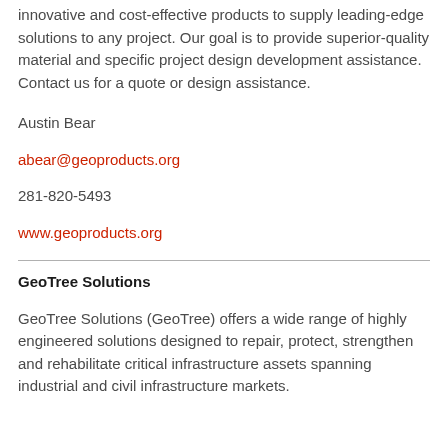innovative and cost-effective products to supply leading-edge solutions to any project. Our goal is to provide superior-quality material and specific project design development assistance. Contact us for a quote or design assistance.
Austin Bear
abear@geoproducts.org
281-820-5493
www.geoproducts.org
GeoTree Solutions
GeoTree Solutions (GeoTree) offers a wide range of highly engineered solutions designed to repair, protect, strengthen and rehabilitate critical infrastructure assets spanning industrial and civil infrastructure markets.